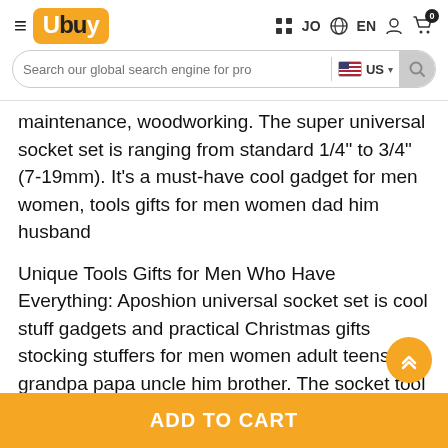Ubuy | JO | EN | US — Navigation and search bar
maintenance, woodworking. The super universal socket set is ranging from standard 1/4" to 3/4" (7-19mm). It's a must-have cool gadget for men women, tools gifts for men women dad him husband
Unique Tools Gifts for Men Who Have Everything: Aposhion universal socket set is cool stuff gadgets and practical Christmas gifts stocking stuffers for men women adult teens grandpa papa uncle him brother. The socket tool set is also a perfect holiday gift idea and stocking stuffers, Birthday gifts for men dad husband, Fathers Day Gifts for dad husband, Anniversary Valentines Day Gifts. Gift-wrap available, the supersocket comes with an exquisite gift box, which is a decent and thoughtful gift
ADD TO CART